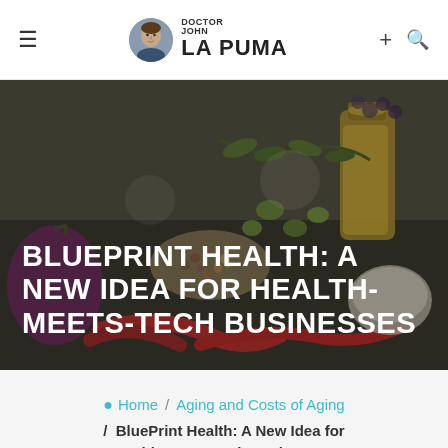Doctor John La Puma — site header with hamburger menu, logo, plus and search icons
[Figure (photo): Hero banner image showing assorted Mediterranean food items: olive oil, olives, spices, red peppers, eggplant, mushrooms on a dark background with a semi-transparent overlay and large title text]
BLUEPRINT HEALTH: A NEW IDEA FOR HEALTH-MEETS-TECH BUSINESSES
Home / Aging and Costs of Aging / BluePrint Health: A New Idea for Health-Meets-Tech Businesses